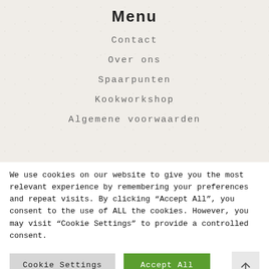Menu
Contact
Over ons
Spaarpunten
Kookworkshop
Algemene voorwaarden
We use cookies on our website to give you the most relevant experience by remembering your preferences and repeat visits. By clicking “Accept All”, you consent to the use of ALL the cookies. However, you may visit “Cookie Settings” to provide a controlled consent.
Cookie Settings | Accept All